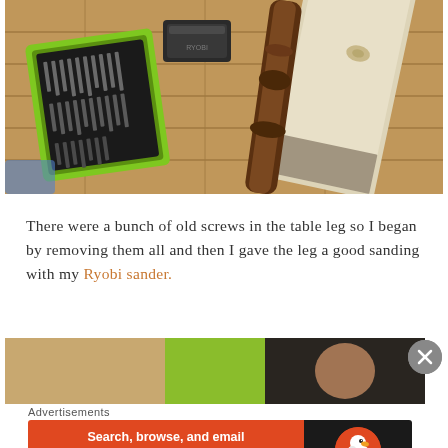[Figure (photo): Overhead photo on wooden floor showing: a green Ryobi drill bit case open with black drill bits arranged inside, a black Ryobi drill battery, a dark brown turned table leg, and a light pine wood board.]
There were a bunch of old screws in the table leg so I began by removing them all and then I gave the leg a good sanding with my Ryobi sander.
[Figure (photo): Partial photo showing wooden floor with green object and dark background, partially obscured.]
Advertisements
[Figure (other): DuckDuckGo advertisement banner. Left side orange/red with text: Search, browse, and email with more privacy. All in One Free App. Right side dark with DuckDuckGo duck logo and brand name.]